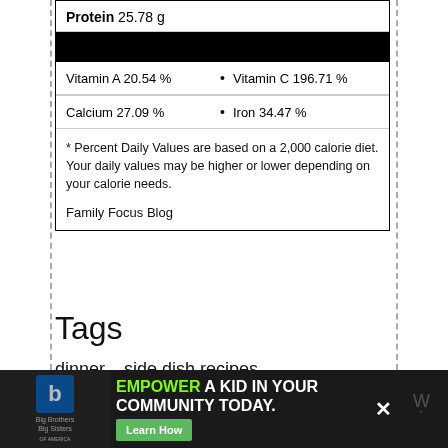| Protein 25.78 g |
| Vitamin A 20.54 % | Vitamin C 196.71 % |
| Calcium 27.09 % | Iron 34.47 % |
* Percent Daily Values are based on a 2,000 calorie diet. Your daily values may be higher or lower depending on your calorie needs.
Family Focus Blog
Tags
dinner,   side dish recipes
© 2022 Copyright Family Focus Blog
[Figure (advertisement): Big Brothers Big Sisters ad banner: EMPOWER A KID IN YOUR COMMUNITY TODAY. with Learn How button]